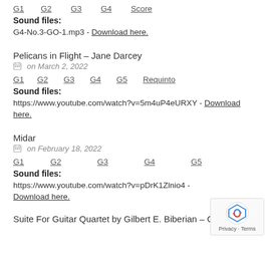G1  G2  G3  G4  Score
Sound files:
G4-No.3-GO-1.mp3 - Download here.
Pelicans in Flight – Jane Darcey
on March 2, 2022
G1  G2  G3  G4  G5  Requinto
Sound files:
https://www.youtube.com/watch?v=5m4uP4eURXY - Download here.
Midar
on February 18, 2022
G1  G2  G3  G4  G5
Sound files:
https://www.youtube.com/watch?v=pDrK1Zlnio4 - Download here.
Suite For Guitar Quartet by Gilbert E. Biberian – Gigue (5)